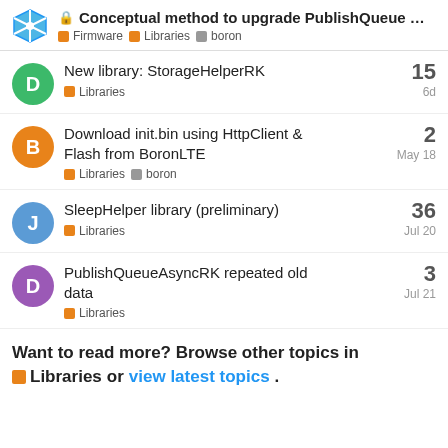🔒 Conceptual method to upgrade PublishQueue... | Firmware | Libraries | boron
New library: StorageHelperRK | Libraries | 15 | 6d
Download init.bin using HttpClient & Flash from BoronLTE | Libraries | boron | 2 | May 18
SleepHelper library (preliminary) | Libraries | 36 | Jul 20
PublishQueueAsyncRK repeated old data | Libraries | 3 | Jul 21
Want to read more? Browse other topics in Libraries or view latest topics.